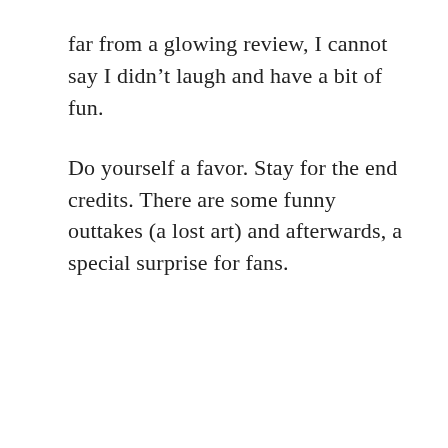far from a glowing review, I cannot say I didn't laugh and have a bit of fun.
Do yourself a favor. Stay for the end credits. There are some funny outtakes (a lost art) and afterwards, a special surprise for fans.